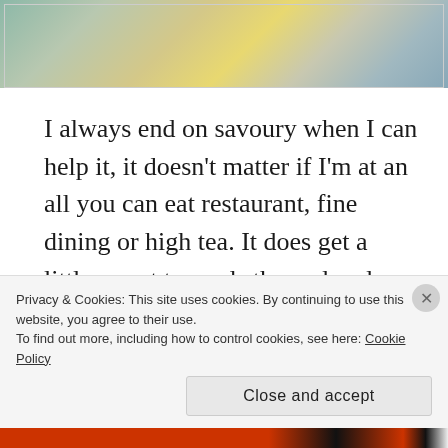[Figure (photo): Partial photo of tea service items including decorative plates or saucers with ornate patterns, appearing to be a high tea setting]
I always end on savoury when I can help it, it doesn't matter if I'm at an all you can eat restaurant, fine dining or high tea. It does get a little sweet towards the end and you might pass out due to a food coma with all the tea so I do suggest leaving a little sandwich or something for the end. Don't be afraid to ask for more cream/jam/dip, the staff are friendly and are too willing to help.
Privacy & Cookies: This site uses cookies. By continuing to use this website, you agree to their use. To find out more, including how to control cookies, see here: Cookie Policy
Close and accept